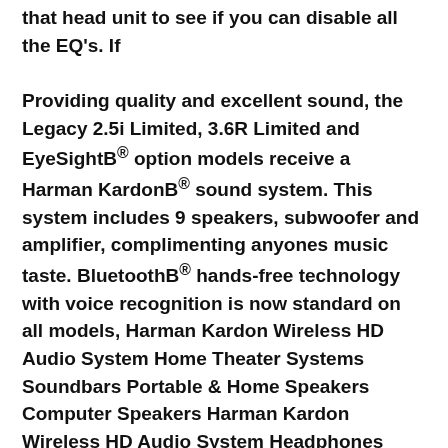that head unit to see if you can disable all the EQ's. If
Providing quality and excellent sound, the Legacy 2.5i Limited, 3.6R Limited and EyeSightB® option models receive a Harman KardonB® sound system. This system includes 9 speakers, subwoofer and amplifier, complimenting anyones music taste. BluetoothB® hands-free technology with voice recognition is now standard on all models, Harman Kardon Wireless HD Audio System Home Theater Systems Soundbars Portable & Home Speakers Computer Speakers Harman Kardon Wireless HD Audio System Headphones Back Headphones In-Ear Headphones Over-Ear & On-Ear Headphones In-Ear вЂ!